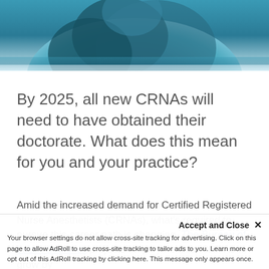[Figure (photo): Medical professional in blue scrubs, close-up photo cropped at top of page]
By 2025, all new CRNAs will need to have obtained their doctorate. What does this mean for you and your practice?
Amid the increased demand for Certified Registered Nurse Anesthetists (CRNAs), what's required to pursue this career path is changing. The Bureau of Labor Statistics projects employment for CRNAs to grow by 45% from 2019 to 2029, with an average annual salary...
Accept and Close ✕ Your browser settings do not allow cross-site tracking for advertising. Click on this page to allow AdRoll to use cross-site tracking to tailor ads to you. Learn more or opt out of this AdRoll tracking by clicking here. This message only appears once.